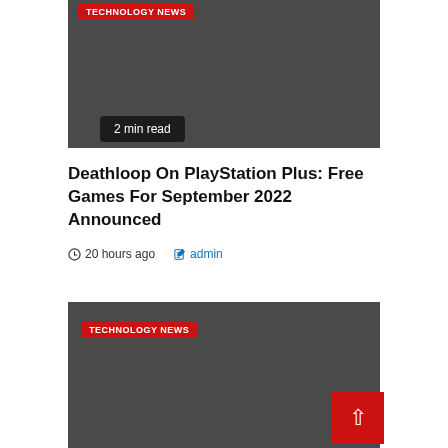[Figure (screenshot): Dark grey card image placeholder area with TECHNOLOGY NEWS red label badge at top left]
2 min read
Deathloop On PlayStation Plus: Free Games For September 2022 Announced
20 hours ago   admin
[Figure (screenshot): Dark grey card image placeholder area with TECHNOLOGY NEWS red label badge at top left and a red back-to-top arrow button at bottom right]